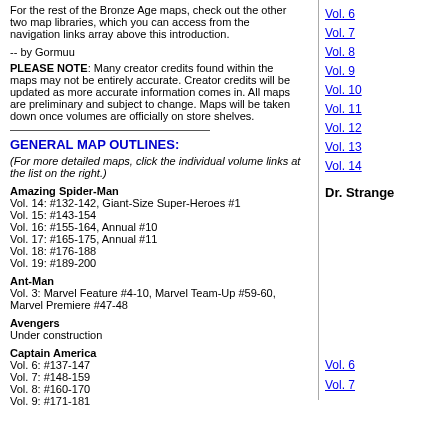For the rest of the Bronze Age maps, check out the other two map libraries, which you can access from the navigation links array above this introduction.
-- by Gormuu
PLEASE NOTE: Many creator credits found within the maps may not be entirely accurate. Creator credits will be updated as more accurate information comes in. All maps are preliminary and subject to change. Maps will be taken down once volumes are officially on store shelves.
Vol. 6
Vol. 7
Vol. 8
Vol. 9
Vol. 10
Vol. 11
Vol. 12
Vol. 13
Vol. 14
Dr. Strange
GENERAL MAP OUTLINES:
(For more detailed maps, click the individual volume links at the list on the right.)
Amazing Spider-Man
Vol. 14: #132-142, Giant-Size Super-Heroes #1
Vol. 15: #143-154
Vol. 16: #155-164, Annual #10
Vol. 17: #165-175, Annual #11
Vol. 18: #176-188
Vol. 19: #189-200
Ant-Man
Vol. 3: Marvel Feature #4-10, Marvel Team-Up #59-60, Marvel Premiere #47-48
Avengers
Under construction
Captain America
Vol. 6: #137-147
Vol. 7: #148-159
Vol. 8: #160-170
Vol. 9: #171-181
Vol. 6
Vol. 7